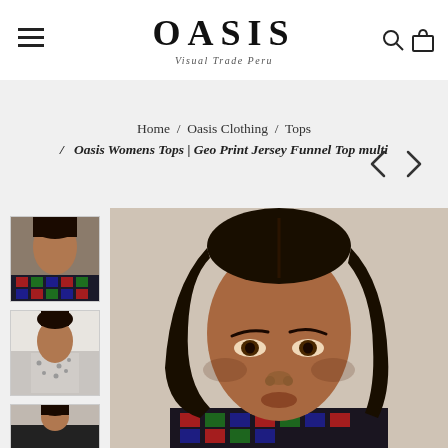OASIS
Visual Trade Peru
Home / Oasis Clothing / Tops / Oasis Womens Tops | Geo Print Jersey Funnel Top multi
[Figure (photo): Thumbnail 1: Model wearing geo print jersey funnel top in multi colourway]
[Figure (photo): Thumbnail 2: Model wearing a spotted/dotted top]
[Figure (photo): Thumbnail 3: Partial thumbnail of another product view]
[Figure (photo): Main product image: Close-up portrait of a dark-haired female model wearing the Oasis Geo Print Jersey Funnel Top multi, with geometric red, green and dark pattern visible at neckline]